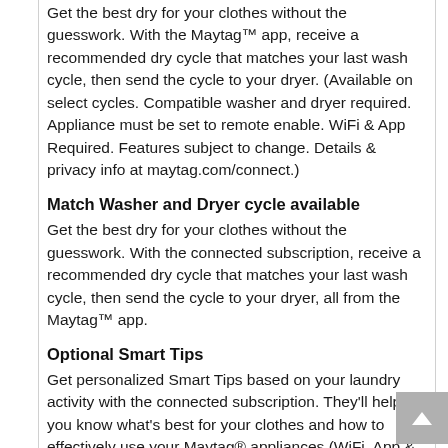Get the best dry for your clothes without the guesswork. With the Maytag™ app, receive a recommended dry cycle that matches your last wash cycle, then send the cycle to your dryer. (Available on select cycles. Compatible washer and dryer required. Appliance must be set to remote enable. WiFi & App Required. Features subject to change. Details & privacy info at maytag.com/connect.)
Match Washer and Dryer cycle available
Get the best dry for your clothes without the guesswork. With the connected subscription, receive a recommended dry cycle that matches your last wash cycle, then send the cycle to your dryer, all from the Maytag™ app.
Optional Smart Tips
Get personalized Smart Tips based on your laundry activity with the connected subscription. They'll help you know what's best for your clothes and how to effectively use your Maytag® appliances (WiFi, App & Connected Subscription required. Features subject to change. Details & privacy info